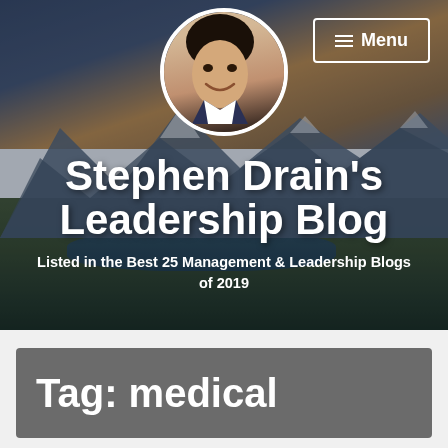[Figure (photo): Hero banner with mountain landscape background, circular portrait photo of a smiling man in a suit, and a Menu button in the top right corner]
Stephen Drain's Leadership Blog
Listed in the Best 25 Management & Leadership Blogs of 2019
Tag: medical